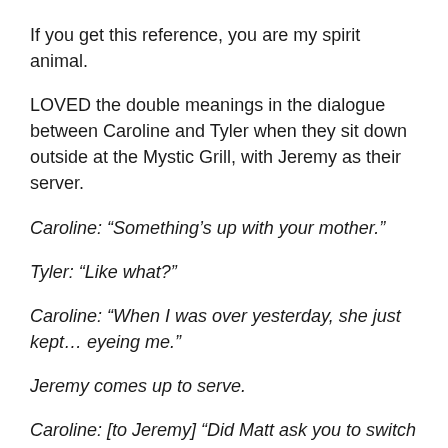If you get this reference, you are my spirit animal.
LOVED the double meanings in the dialogue between Caroline and Tyler when they sit down outside at the Mystic Grill, with Jeremy as their server.
Caroline: “Something’s up with your mother.”
Tyler: “Like what?”
Caroline: “When I was over yesterday, she just kept… eyeing me.”
Jeremy comes up to serve.
Caroline: [to Jeremy] “Did Matt ask you to switch sections?”
Jeremy: [sighs cutely]